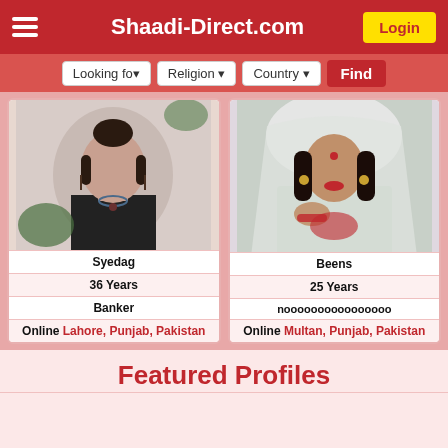Shaadi-Direct.com
Looking for | Religion | Country | Find
[Figure (photo): Profile photo of Syedag - young woman with dark hair in bun, wearing black outfit with necklace, against grey background with plant]
Syedag
36 Years
Banker
Online Lahore, Punjab, Pakistan
[Figure (photo): Profile photo of Beens - young woman wearing white bridal dupatta/veil with jewelry, in bridal attire]
Beens
25 Years
noooooooooooooooo
Online Multan, Punjab, Pakistan
Featured Profiles